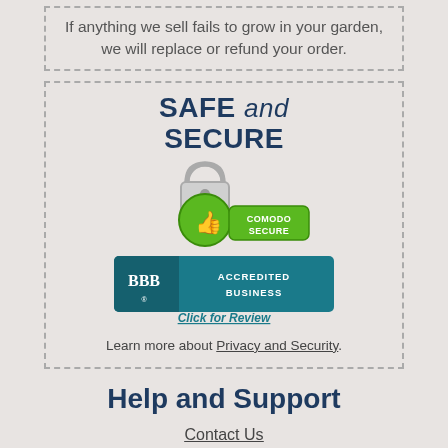If anything we sell fails to grow in your garden, we will replace or refund your order.
SAFE and SECURE
[Figure (logo): Comodo Secure badge with padlock and thumbs-up icon]
[Figure (logo): BBB Accredited Business badge with Click for Review text]
Learn more about Privacy and Security.
Help and Support
Contact Us
Shipping Information
How Our Plants Are Shipped